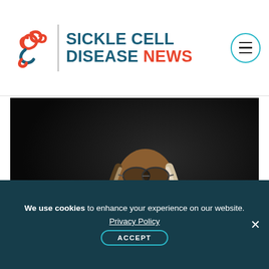Sickle Cell Disease News
[Figure (logo): Sickle Cell Disease News logo with red swirl icon, vertical divider, and blue/red site title text]
[Figure (photo): A Black woman with braided hair wearing glasses and a dark maroon turtleneck, arms crossed, posed against a dark background]
We use cookies to enhance your experience on our website.
Privacy Policy
ACCEPT